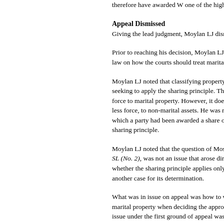therefore have awarded W one of the highe
Appeal Dismissed
Giving the lead judgment, Moylan LJ dism
Prior to reaching his decision, Moylan LJ u law on how the courts should treat marital a
Moylan LJ noted that classifying property a seeking to apply the sharing principle. This force to marital property. However, it does less force, to non-marital assets. He was no which a party had been awarded a share of sharing principle.
Moylan LJ noted that the question of Mosty SL (No. 2), was not an issue that arose dire whether the sharing principle applies only t another case for its determination.
What was in issue on appeal was how to w marital property when deciding the approp issue under the first ground of appeal was v formulaic manner or whether the court can to consider 'flexibility' advocated by Lord D considering his own judgment in C v C, alo in Goddard-Watts v Goddard-Watts [2017]